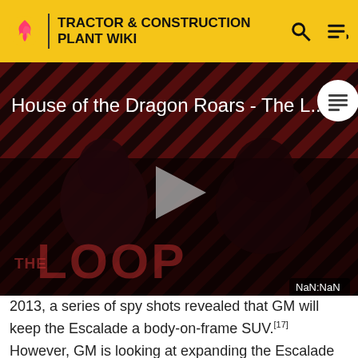TRACTOR & CONSTRUCTION PLANT WIKI
[Figure (screenshot): Video thumbnail for 'House of the Dragon Roars - The L...' with a play button, dark reddish diagonal stripe background, silhouetted figures, THE LOOP text overlay, and NaN:NaN timestamp badge]
2013, a series of spy shots revealed that GM will keep the Escalade a body-on-frame SUV.[17] However, GM is looking at expanding the Escalade brand to the large CUV segment, which would see a vehicle using the Escalade badge sharing the same platform as the Chevrolet Traverse and GMC Acadia, which is in the planning...